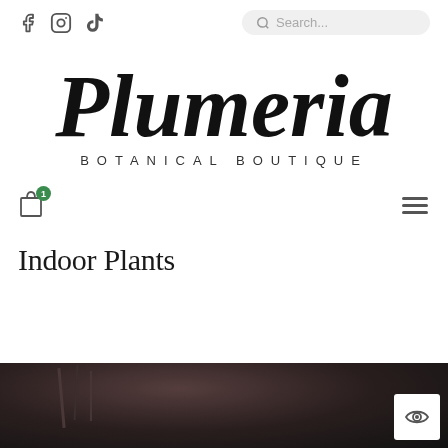[Figure (logo): Plumeria Botanical Boutique logo in cursive script with botanical boutique text below]
Indoor Plants
[Figure (photo): Dark background product photo of indoor plants, partially visible at bottom of page]